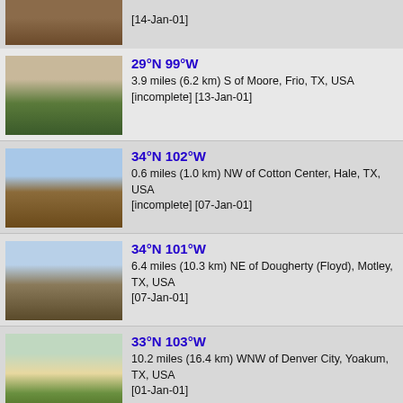[Figure (photo): Landscape photo - brown field/scrubland (partial, top of page)]
[14-Jan-01]
[Figure (photo): Landscape photo - scrubby brush/trees in winter, Texas]
29°N 99°W
3.9 miles (6.2 km) S of Moore, Frio, TX, USA [incomplete] [13-Jan-01]
[Figure (photo): Landscape photo - flat agricultural field under blue sky, Texas]
34°N 102°W
0.6 miles (1.0 km) NW of Cotton Center, Hale, TX, USA [incomplete] [07-Jan-01]
[Figure (photo): Landscape photo - shrubby terrain, Motley County Texas]
34°N 101°W
6.4 miles (10.3 km) NE of Dougherty (Floyd), Motley, TX, USA [07-Jan-01]
[Figure (photo): Landscape photo - dirt road through green/grassy field, Yoakum County Texas]
33°N 103°W
10.2 miles (16.4 km) WNW of Denver City, Yoakum, TX, USA [01-Jan-01]
[Figure (photo): Landscape photo - dry scrubland, Stonewall County Texas]
33°N 100°W
5.9 miles (9.5 km) SSW of Sagerton (Haskell), Stonewall, TX, USA [16-Jan-00]